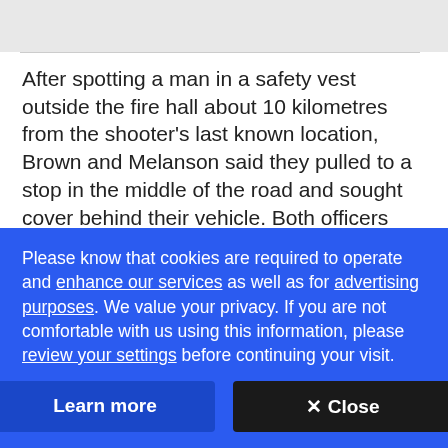After spotting a man in a safety vest outside the fire hall about 10 kilometres from the shooter's last known location, Brown and Melanson said they pulled to a stop in the middle of the road and sought cover behind their vehicle. Both officers said they couldn't see anyone sitting inside the cruiser and only realized an officer from Pictou County was in the driver's seat when he got out.
Please know that cookies are required to operate and enhance our services as well as for advertising purposes. We value your privacy. If you are not comfortable with us using this information, please review your settings before continuing your visit.